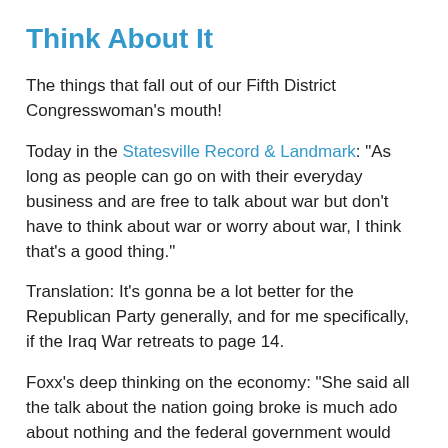Think About It
The things that fall out of our Fifth District Congresswoman's mouth!
Today in the Statesville Record & Landmark: "As long as people can go on with their everyday business and are free to talk about war but don't have to think about war or worry about war, I think that's a good thing."
Translation: It's gonna be a lot better for the Republican Party generally, and for me specifically, if the Iraq War retreats to page 14.
Foxx's deep thinking on the economy: "She said all the talk about the nation going broke is much ado about nothing and the federal government would actually be operating at a surplus 'if the Democrats would cut a lot of the spending not related to the war.' "
Put those two pieces of appalling sapience together: It's an